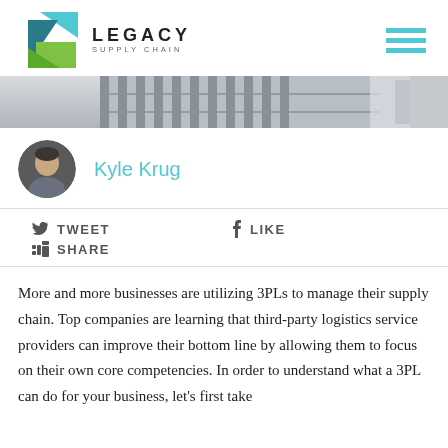[Figure (logo): Legacy Supply Chain logo with geometric diamond shape in teal and green, text 'LEGACY SUPPLY CHAIN']
[Figure (photo): Banner photo of a warehouse interior with shelving/racking]
Kyle Krug
TWEET   LIKE   SHARE
More and more businesses are utilizing 3PLs to manage their supply chain. Top companies are learning that third-party logistics service providers can improve their bottom line by allowing them to focus on their own core competencies. In order to understand what a 3PL can do for your business, let's first take